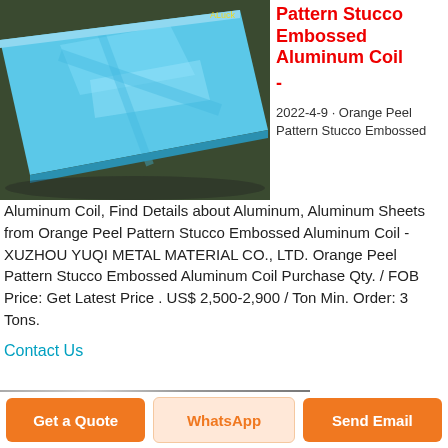[Figure (photo): Blue aluminum sheet/coil on warehouse floor]
Pattern Stucco Embossed Aluminum Coil -
2022-4-9 · Orange Peel Pattern Stucco Embossed Aluminum Coil, Find Details about Aluminum, Aluminum Sheets from Orange Peel Pattern Stucco Embossed Aluminum Coil - XUZHOU YUQI METAL MATERIAL CO., LTD. Orange Peel Pattern Stucco Embossed Aluminum Coil Purchase Qty. / FOB Price: Get Latest Price . US$ 2,500-2,900 / Ton Min. Order: 3 Tons.
Contact Us
[Figure (photo): Partial view of embossed aluminum coil product image]
Get a Quote
WhatsApp
Send Email